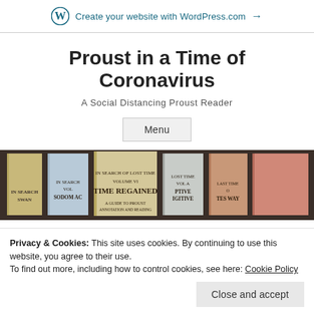Create your website with WordPress.com →
Proust in a Time of Coronavirus
A Social Distancing Proust Reader
Menu
[Figure (photo): Row of Proust book spines including 'In Search of Lost Time' volumes: Swann's Way, Sodom and Gomorrah, Time Regained, The Fugitive, and others]
Privacy & Cookies: This site uses cookies. By continuing to use this website, you agree to their use.
To find out more, including how to control cookies, see here: Cookie Policy
Close and accept
Constellation of Selves, and the